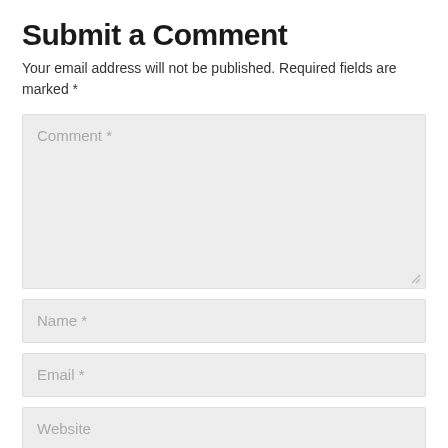Submit a Comment
Your email address will not be published. Required fields are marked *
[Figure (other): Comment text area input field with placeholder text 'Comment *' and a resize handle in the bottom-right corner]
[Figure (other): Name input field with placeholder text 'Name *']
[Figure (other): Email input field with placeholder text 'Email *']
[Figure (other): Website input field with placeholder text 'Website']